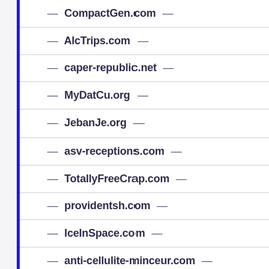— CompactGen.com —
— AlcTrips.com —
— caper-republic.net —
— MyDatCu.org —
— JebanJe.org —
— asv-receptions.com —
— TotallyFreeCrap.com —
— providentsh.com —
— IceInSpace.com —
— anti-cellulite-minceur.com —